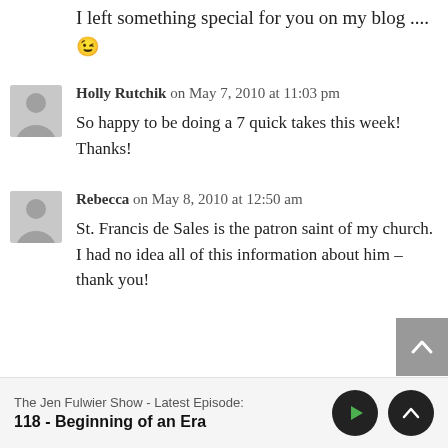I left something special for you on my blog .... 😉
Holly Rutchik on May 7, 2010 at 11:03 pm
So happy to be doing a 7 quick takes this week! Thanks!
Rebecca on May 8, 2010 at 12:50 am
St. Francis de Sales is the patron saint of my church. I had no idea all of this information about him – thank you!
The Jen Fulwier Show - Latest Episode:
118 - Beginning of an Era